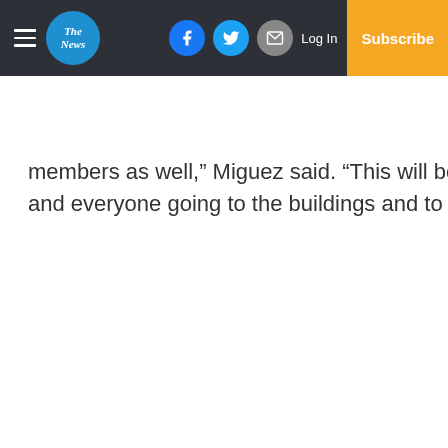The News — navigation bar with hamburger menu, logo, social icons (Facebook, Twitter, Email), Log In, Subscribe
members as well,” Miguez said. “This will be great to be a and everyone going to the buildings and to be a presenc